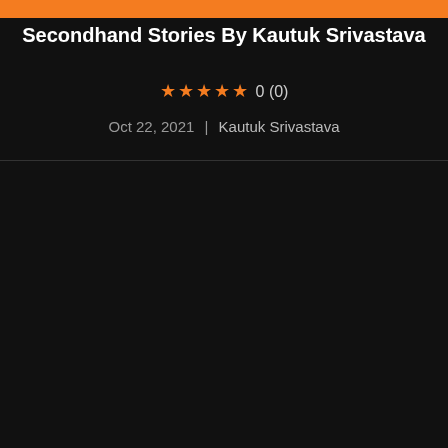Secondhand Stories By Kautuk Srivastava
★★★★★ 0 (0)
Oct 22, 2021 | Kautuk Srivastava